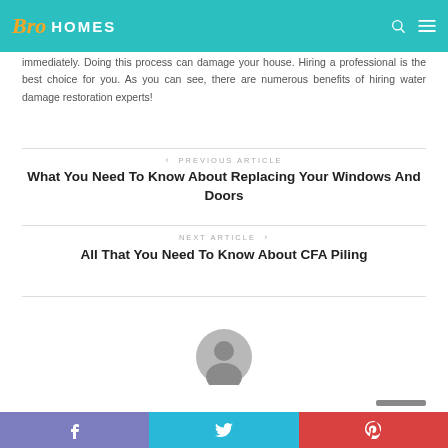Bro Homes
immediately. Doing this process can damage your house. Hiring a professional is the best choice for you. As you can see, there are numerous benefits of hiring water damage restoration experts!
PREVIOUS ARTICLE
What You Need To Know About Replacing Your Windows And Doors
NEXT ARTICLE
All That You Need To Know About CFA Piling
[Figure (other): Author avatar circle placeholder]
Facebook | Twitter | Pinterest social share bar